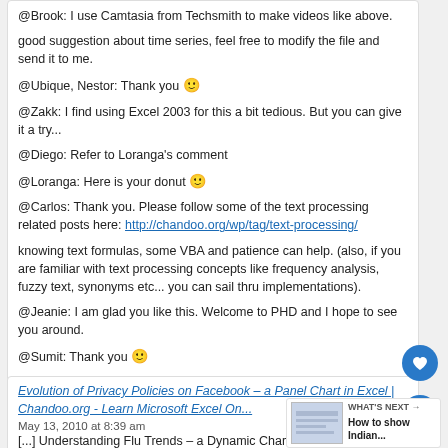@Brook: I use Camtasia from Techsmith to make videos like above.
good suggestion about time series, feel free to modify the file and send it to me.
@Ubique, Nestor: Thank you 🙂
@Zakk: I find using Excel 2003 for this a bit tedious. But you can give it a try...
@Diego: Refer to Loranga's comment
@Loranga: Here is your donut 🙂
@Carlos: Thank you. Please follow some of the text processing related posts here: http://chandoo.org/wp/tag/text-processing/
knowing text formulas, some VBA and patience can help. (also, if you are familiar with text processing concepts like frequency analysis, fuzzy text, synonyms etc... you can sail thru implementations).
@Jeanie: I am glad you like this. Welcome to PHD and I hope to see you around.
@Sumit: Thank you 🙂
Reply
Evolution of Privacy Policies on Facebook – a Panel Chart in Excel | Chandoo.org - Learn Microsoft Excel On...
May 13, 2010 at 8:39 am
[...] Understanding Flu Trends – a Dynamic Char...
Reply
WHAT'S NEXT → How to show Indian...